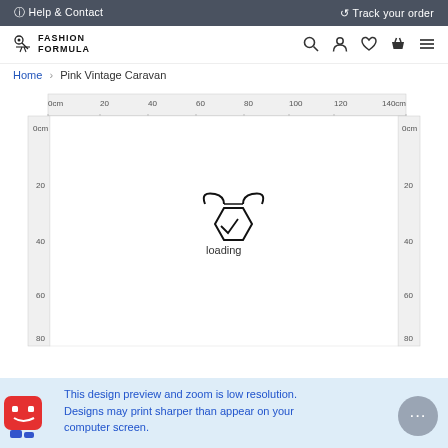Help & Contact   Track your order
[Figure (logo): Fashion Formula logo with scissor/needle icon]
Home > Pink Vintage Caravan
[Figure (illustration): Product image area with horizontal and vertical cm rulers (0cm to 140cm horizontal, 0cm to 80cm vertical on both sides), showing a loading spinner/icon in the center with text 'loading']
This design preview and zoom is low resolution. Designs may print sharper than appear on your computer screen.